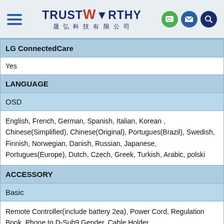TrustWorthy 晟弘科技有限公司
| LG ConnectedCare |
| Yes |
| LANGUAGE |
| OSD |
| English, French, German, Spanish, Italian, Korean , Chinese(Simplified), Chinese(Original), Portugues(Brazil), Swedish, Finnish, Norwegian, Danish, Russian, Japanese, Portugues(Europe), Dutch, Czech, Greek, Turkish, Arabic, polski |
| ACCESSORY |
| Basic |
| Remote Controller(include battery 2ea), Power Cord, Regulation Book, Phone to D-Sub9 Gender, Cable Holder |